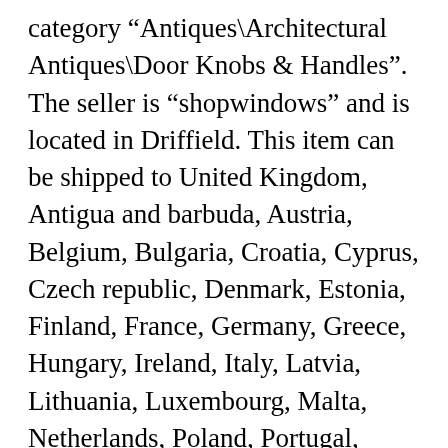category “Antiques\Architectural Antiques\Door Knobs & Handles”. The seller is “shopwindows” and is located in Driffield. This item can be shipped to United Kingdom, Antigua and barbuda, Austria, Belgium, Bulgaria, Croatia, Cyprus, Czech republic, Denmark, Estonia, Finland, France, Germany, Greece, Hungary, Ireland, Italy, Latvia, Lithuania, Luxembourg, Malta, Netherlands, Poland, Portugal, Romania, Slovakia, Slovenia, Spain, Sweden, Australia, United States, Bahrain, Canada, Brazil, Japan, New Zealand, China, Israel, Hong Kong, Norway, Indonesia, Malaysia, Mexico, Singapore, South